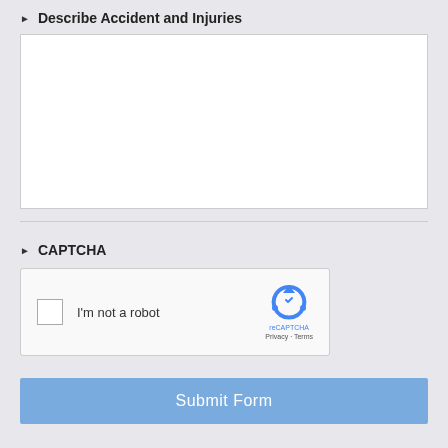Describe Accident and Injuries
[Figure (screenshot): Empty white textarea input box for describing accident and injuries]
CAPTCHA
[Figure (screenshot): reCAPTCHA widget with checkbox labeled 'I'm not a robot' and reCAPTCHA logo with Privacy and Terms links]
Submit Form